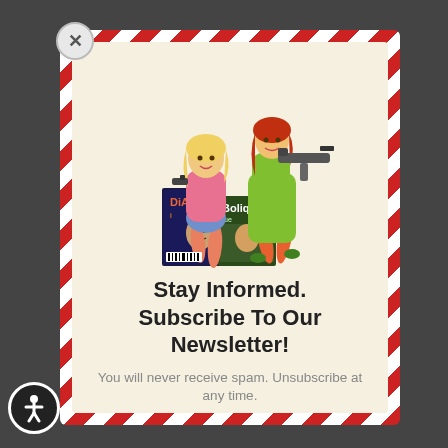[Figure (illustration): Two illustrated women holding guns, posing with comic/magazine covers labeled 'Diabol' and 'Boliq' at their feet. Retro pulp art style.]
Stay Informed. Subscribe To Our Newsletter!
You will never receive spam. Unsubscribe at any time.